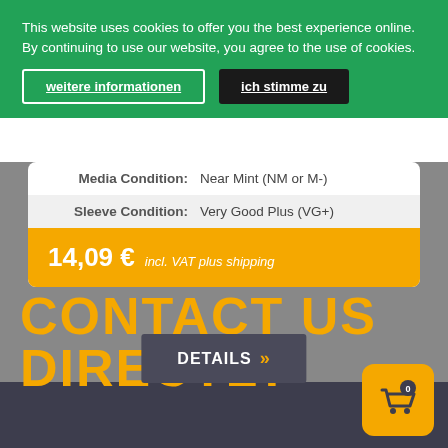This website uses cookies to offer you the best experience online. By continuing to use our website, you agree to the use of cookies.
weitere informationen
ich stimme zu
| Media Condition: | Near Mint (NM or M-) |
| Sleeve Condition: | Very Good Plus (VG+) |
14,09 € incl. VAT plus shipping
DETAILS »
CONTACT US DIRECTLY